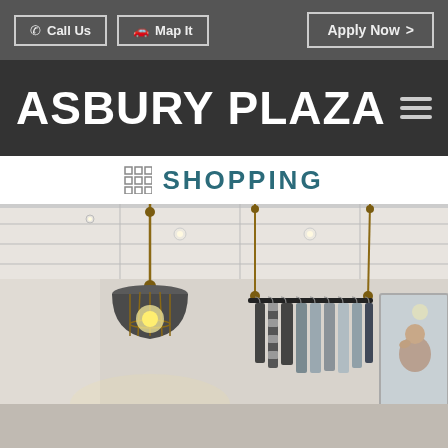Call Us  Map It  Apply Now >
ASBURY PLAZA
SHOPPING
[Figure (photo): Interior of a clothing boutique showing hanging garments on a rope-suspended rack, an industrial pendant light with Edison bulb, white ceiling with recessed lighting, and a mirror reflecting a person in the background.]